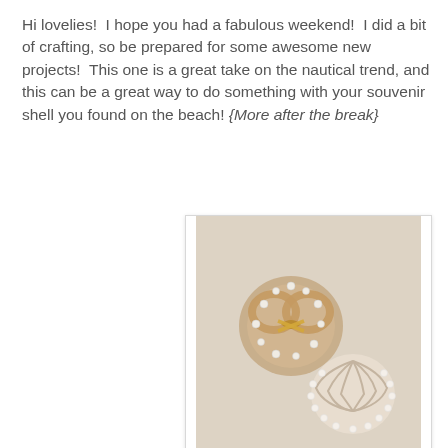Hi lovelies!  I hope you had a fabulous weekend!  I did a bit of crafting, so be prepared for some awesome new projects!  This one is a great take on the nautical trend, and this can be a great way to do something with your souvenir shell you found on the beach! {More after the break}
[Figure (photo): Two shell/nautical-themed brooches or earrings on a light beige background. Left item is a pretzel-shaped shell decorated with gold wire and pearls. Right item is a scallop shell decorated with small pearls around the edge.]